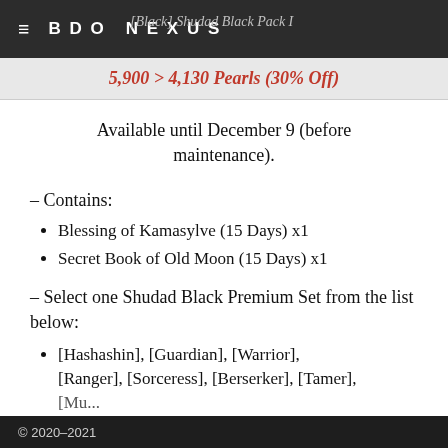BDO NEXUS
[Black] Shudad Black Pack I
5,900 > 4,130 Pearls (30% Off)
Available until December 9 (before maintenance).
– Contains:
Blessing of Kamasylve (15 Days) x1
Secret Book of Old Moon (15 Days) x1
– Select one Shudad Black Premium Set from the list below:
[Hashashin], [Guardian], [Warrior], [Ranger], [Sorceress], [Berserker], [Tamer], [Musa], [Valkyrie], [Maehwa]...
© 2020-2021